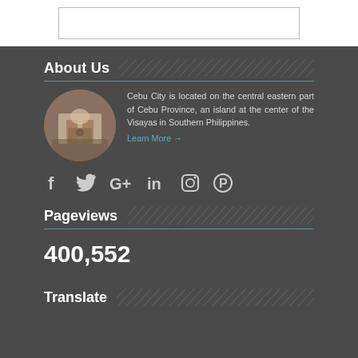[Figure (other): White box outline on white background]
About Us
[Figure (photo): Circular photo of a historic building/chapel with arches]
Cebu City is located on the central eastern part of Cebu Province, an island at the center of the Visayas in Southern Philippines.
Learn More →
[Figure (infographic): Social media icons: Facebook, Twitter, Google+, LinkedIn, Instagram, Pinterest]
Pageviews
400,552
Translate